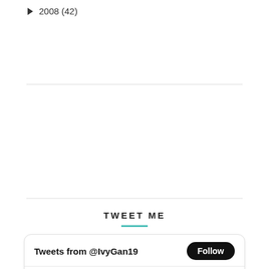► 2008 (42)
TWEET ME
[Figure (screenshot): Twitter widget showing 'Tweets from @IvyGan19' with a Follow button, and a tweet by Ivy Gan @IvyGan19 dated Mar 17, 2019 reading: 'Last night party fun at St.Patrick's Festival! Happening on 16th & 17th March!' followed by dots and a truncated URL.]